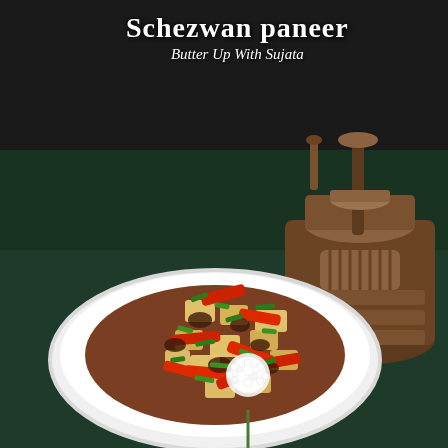[Figure (photo): Food photography showing Schezwan paneer dish served on a white rectangular plate. The dish contains cubes of paneer (Indian cottage cheese), red bell pepper strips, and green spring onions in a dark spicy Schezwan sauce. A white allium flower is placed as decoration near the dish. A wooden traditional oil press (chakki) is visible in the background upper right. The background is a dark green surface/tablecloth with a near-black upper portion.]
Schezwan paneer
Butter Up With Sujata